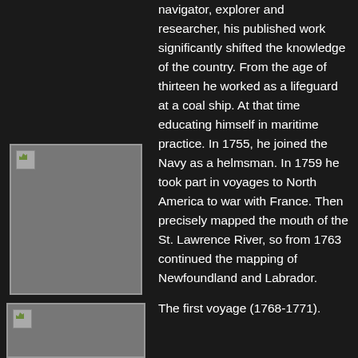navigator, explorer and researcher, his published work significantly shifted the knowledge of the country. From the age of thirteen he worked as a lifeguard at a coal ship. At that time educating himself in maritime practice. In 1755, he joined the Navy as a helmsman. In 1759 he took part in voyages to North America to war with France. Then precisely mapped the mouth of the St. Lawrence River, so from 1763 continued the mapping of Newfoundland and Labrador.
[Figure (photo): Portrait image placeholder (broken image icon on grey background)]
[Figure (photo): Second image placeholder (broken image icon on grey background)]
The first voyage (1768-1771).